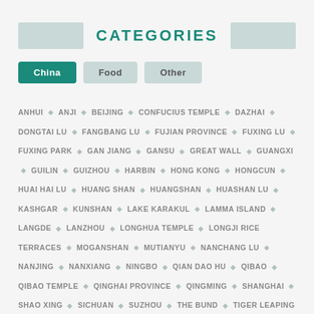CATEGORIES
China
Food
Other
ANHUI ◆ ANJI ◆ BEIJING ◆ CONFUCIUS TEMPLE ◆ DAZHAI ◆ DONGTAI LU ◆ FANGBANG LU ◆ FUJIAN PROVINCE ◆ FUXING LU ◆ FUXING PARK ◆ GAN JIANG ◆ GANSU ◆ GREAT WALL ◆ GUANGXI ◆ GUILIN ◆ GUIZHOU ◆ HARBIN ◆ HONG KONG ◆ HONGCUN ◆ HUAI HAI LU ◆ HUANG SHAN ◆ HUANGSHAN ◆ HUASHAN LU ◆ KASHGAR ◆ KUNSHAN ◆ LAKE KARAKUL ◆ LAMMA ISLAND ◆ LANGDE ◆ LANZHOU ◆ LONGHUA TEMPLE ◆ LONGJI RICE TERRACES ◆ MOGANSHAN ◆ MUTIANYU ◆ NANCHANG LU ◆ NANJING ◆ NANXIANG ◆ NINGBO ◆ QIAN DAO HU ◆ QIBAO ◆ QIBAO TEMPLE ◆ QINGHAI PROVINCE ◆ QINGMING ◆ SHANGHAI ◆ SHAO XING ◆ SICHUAN ◆ SUZHOU ◆ THE BUND ◆ TIGER LEAPING GORGE ◆ TONGLI ◆ WEN MIAO ◆ WULUMUQI LU ◆ XI'AN ◆ XIANG GANG ◆